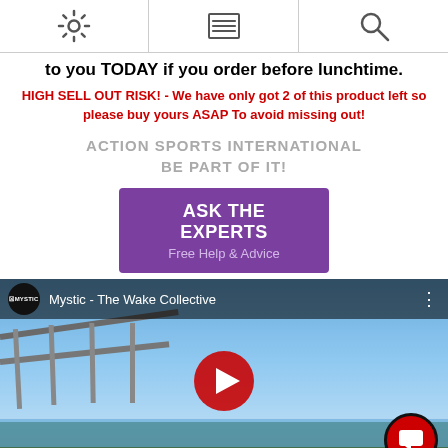[navigation icons: settings, menu, search]
to you TODAY if you order before lunchtime.
HIGH SELL OUT RISK! - We have only got 2 of this product left so please buy yours ASAP To avoid missing out!
ACTION SPORTS INTERNATIONAL
BE PART OF IT!
[Figure (other): Purple button: ASK THE EXPERTS / Free Help & Advice]
[Figure (screenshot): YouTube video thumbnail: Mystic - The Wake Collective. Shows a wakeboarder performing a trick over water, with a YouTube play button overlay. Channel logo shows MYSTIC brand.]